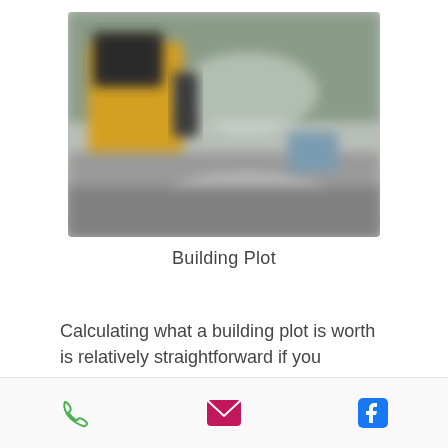[Figure (photo): Blurred outdoor photo showing a yellow construction vehicle or machinery on the left, a grey road/surface in the foreground, and green/grey vegetation in the background.]
Building Plot
Calculating what a building plot is worth is relatively straightforward if you
[Figure (other): Bottom navigation bar with three icons: green phone icon, pink/red envelope icon, and blue Facebook icon.]